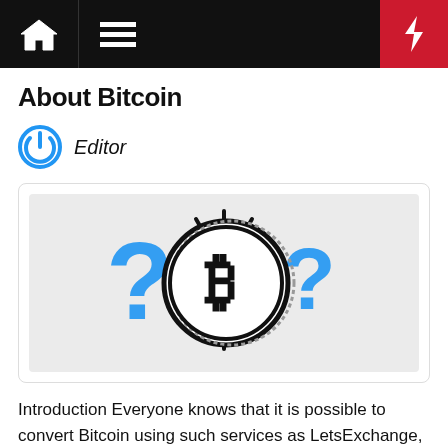Navigation bar with home icon, menu icon, and bolt icon
About Bitcoin
Editor
[Figure (illustration): Bitcoin coin with question marks on either side, drawn in black and white with blue question marks, coin has the Bitcoin 'B' symbol, surrounded by radiating lines suggesting glow or importance]
Introduction Everyone knows that it is possible to convert Bitcoin using such services as LetsExchange, but there are more interesting things